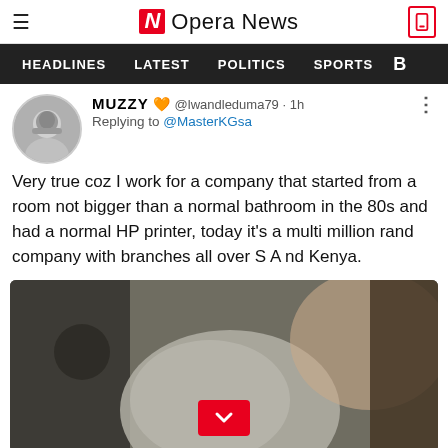Opera News
HEADLINES  LATEST  POLITICS  SPORTS
MUZZY ❤ @lwandleduma79 · 1h
Replying to @MasterKGsa
Very true coz I work for a company that started from a room not bigger than a normal bathroom in the 80s and had a normal HP printer, today it's a multi million rand company with branches all over S A nd Kenya.
[Figure (photo): Blurred photo showing elderly person with grey hair in foreground and another person behind, with a red down-chevron button overlay]